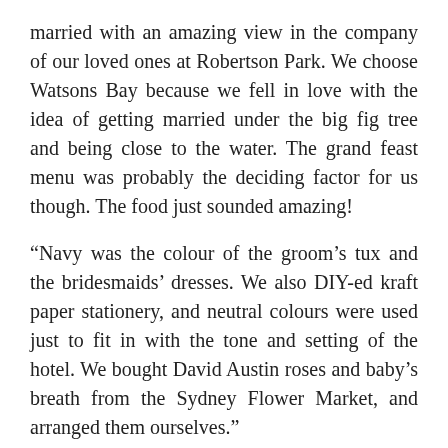married with an amazing view in the company of our loved ones at Robertson Park. We choose Watsons Bay because we fell in love with the idea of getting married under the big fig tree and being close to the water. The grand feast menu was probably the deciding factor for us though. The food just sounded amazing!
“Navy was the colour of the groom’s tux and the bridesmaids’ dresses. We also DIY-ed kraft paper stationery, and neutral colours were used just to fit in with the tone and setting of the hotel. We bought David Austin roses and baby’s breath from the Sydney Flower Market, and arranged them ourselves.”
Tips from the bride: “I chose to go DIY for most things, as it helped save on a lot of the costs and I felt that it gave me the flexibility to plan our wedding the way we wanted it to be. Fortunately, I was really lucky to have girlfriends who are extremely creative and talented. They helped with all